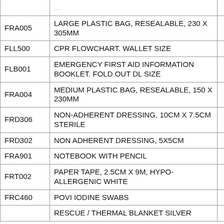| Code | Description | Qty |
| --- | --- | --- |
|  | ... (partial top row) | 1 |
| FRA005 | LARGE PLASTIC BAG, RESEALABLE, 230 X 305MM | 1 |
| FLL500 | CPR FLOWCHART. WALLET SIZE | 1 |
| FLB001 | EMERGENCY FIRST AID INFORMATION BOOKLET. FOLD OUT DL SIZE | 1 |
| FRA004 | MEDIUM PLASTIC BAG, RESEALABLE, 150 X 230MM | 1 |
| FRD306 | NON-ADHERENT DRESSING, 10CM X 7.5CM STERILE | 2 |
| FRD302 | NON ADHERENT DRESSING, 5X5CM | 2 |
| FRA901 | NOTEBOOK WITH PENCIL | 1 |
| FRT002 | PAPER TAPE, 2.5CM X 9M, HYPO-ALLERGENIC WHITE | 1 |
| FRC460 | POVI IODINE SWABS | 2 |
|  | RESCUE / THERMAL BLANKET SILVER... |  |